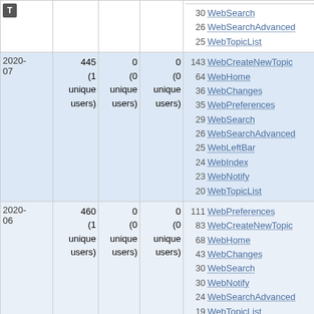| Date | Views | Saves | Uploads | Top pages |
| --- | --- | --- | --- | --- |
|  |  |  |  | ...(dotted line)...
30 WebSearch
26 WebSearchAdvanced
25 WebTopicList |
| 2020-07 | 445 (1 unique users) | 0 (0 unique users) | 0 (0 unique users) | 143 WebCreateNewTopic
64 WebHome
36 WebChanges
35 WebPreferences
29 WebSearch
26 WebSearchAdvanced
25 WebLeftBar
24 WebIndex
23 WebNotify
20 WebTopicList |
| 2020-06 | 460 (1 unique users) | 0 (0 unique users) | 0 (0 unique users) | 111 WebPreferences
83 WebCreateNewTopic
68 WebHome
43 WebChanges
30 WebSearch
30 WebNotify
24 WebSearchAdvanced
19 WebTopicList |